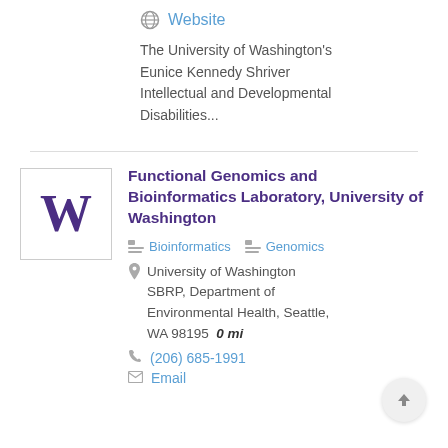Website
The University of Washington's Eunice Kennedy Shriver Intellectual and Developmental Disabilities...
Functional Genomics and Bioinformatics Laboratory, University of Washington
Bioinformatics
Genomics
University of Washington SBRP, Department of Environmental Health, Seattle, WA 98195  0 mi
(206) 685-1991
Email